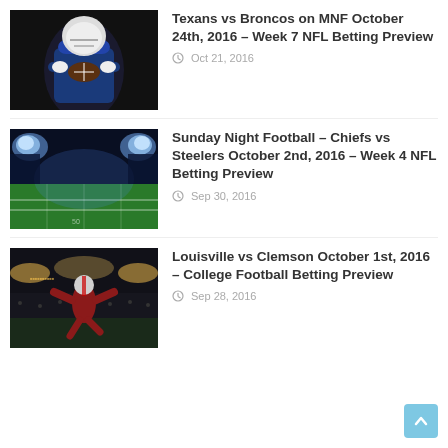[Figure (photo): Football player in blue jersey holding a ball, dark background]
Texans vs Broncos on MNF October 24th, 2016 – Week 7 NFL Betting Preview
Oct 21, 2016
[Figure (photo): NFL stadium at night with bright lights illuminating the field]
Sunday Night Football – Chiefs vs Steelers October 2nd, 2016 – Week 4 NFL Betting Preview
Sep 30, 2016
[Figure (photo): Football player in red jersey leaping in a dark stadium]
Louisville vs Clemson October 1st, 2016 – College Football Betting Preview
Sep 28, 2016